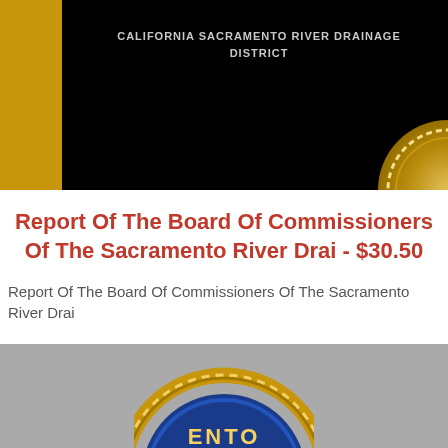[Figure (photo): Top portion of a book cover with black background, gold left bar, and text reading CALIFORNIA SACRAMENTO RIVER DRAINAGE DISTRICT in gray/white letters. A gold decorative seal element appears in the bottom right corner.]
Report Of The Board Of Commissioners Of The Sacramento River Drai - $30.50
Report Of The Board Of Commissioners Of The Sacramento River Drai
[Figure (photo): Bottom portion of a circular gold and blue official seal or medallion on a gray background, showing partial text ENTO at the bottom.]